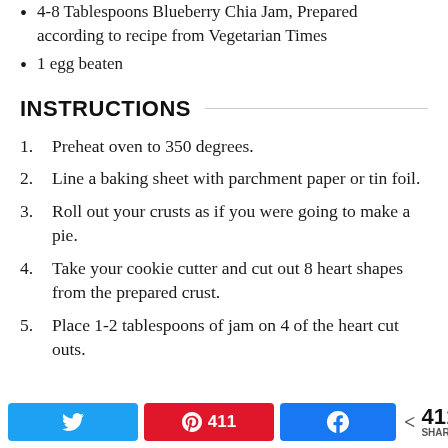4-8 Tablespoons Blueberry Chia Jam, Prepared according to recipe from Vegetarian Times
1 egg beaten
INSTRUCTIONS
Preheat oven to 350 degrees.
Line a baking sheet with parchment paper or tin foil.
Roll out your crusts as if you were going to make a pie.
Take your cookie cutter and cut out 8 heart shapes from the prepared crust.
Place 1-2 tablespoons of jam on 4 of the heart cut outs.
411 SHARES